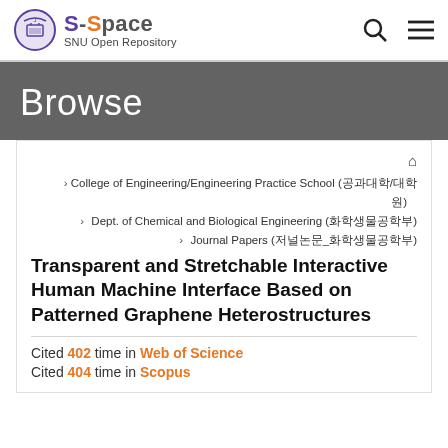S-Space SNU Open Repository
Browse
College of Engineering/Engineering Practice School (공과대학/대학원) > Dept. of Chemical and Biological Engineering (화학생물공학부) > Journal Papers (저널논문_화학생물공학부)
Transparent and Stretchable Interactive Human Machine Interface Based on Patterned Graphene Heterostructures
Cited 402 time in Web of Science
Cited 404 time in Scopus